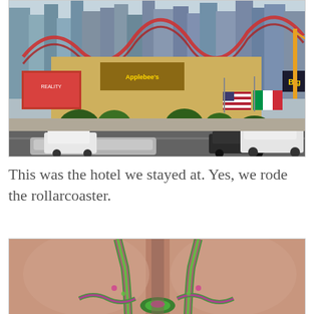[Figure (photo): Street-level photo of New York-New York Hotel & Casino in Las Vegas, showing replica Manhattan skyline with skyscrapers, roller coaster tracks, flags including American and Italian flags, billboard signs, and traffic on the Las Vegas Strip with cars and SUVs in foreground.]
This was the hotel we stayed at. Yes, we rode the rollarcoaster.
[Figure (photo): Close-up photo showing a person wearing a colorful crocheted or knitted top/bikini with green and pink/purple pattern, viewed from the neck/shoulder area.]